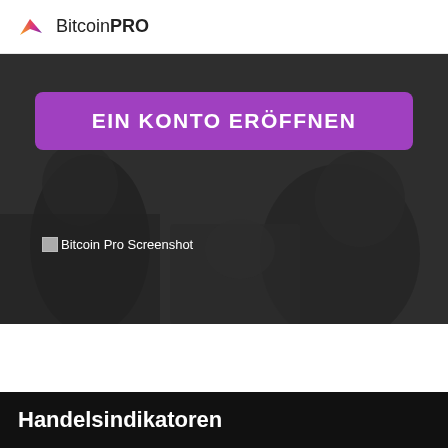Bitcoin PRO
[Figure (screenshot): Dark hero banner with a grayscale background photo of people. Contains a purple CTA button labeled 'EIN KONTO ERÖFFNEN' and a broken image placeholder labeled 'Bitcoin Pro Screenshot'.]
Handelsindikatoren